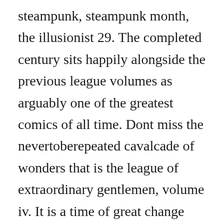steampunk, steampunk month, the illusionist 29. The completed century sits happily alongside the previous league volumes as arguably one of the greatest comics of all time. Dont miss the nevertoberepeated cavalcade of wonders that is the league of extraordinary gentlemen, volume iv. It is a time of great change and an age of stagnation, a period of chaste order and. Rekow writes, isnt this picture part of the haul i swiped from the museum during the war. The league of extraordinary gentlemen reading order. Alan moore is preparing a sixpart finale for